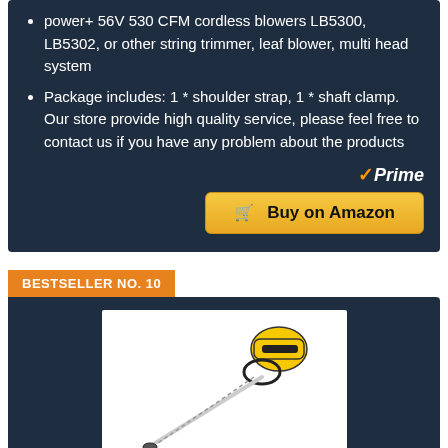power+ 56V 530 CFM cordless blowers LB5300, LB5302, or other string trimmer, leaf blower, multi head system
Package includes: 1 * shoulder strap, 1 * shaft clamp. Our store provide high quality service, please feel free to contact us if you have any problem about the products
✓Prime
🛒 Buy on Amazon
BESTSELLER NO. 10
[Figure (photo): A yellow and black cordless pole saw/trimmer tool against a white background]